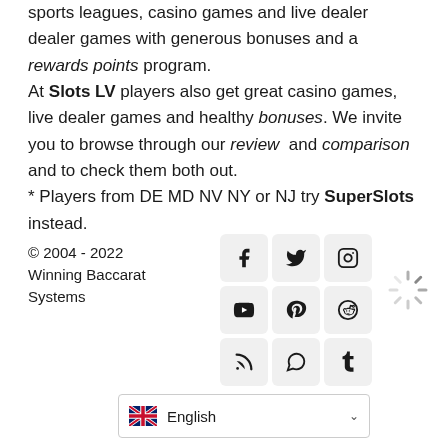sports leagues, casino games and live dealer dealer games with generous bonuses and a rewards points program.
At Slots LV players also get great casino games, live dealer games and healthy bonuses. We invite you to browse through our review and comparison and to check them both out.
* Players from DE MD NV NY or NJ try SuperSlots instead.
© 2004 - 2022 Winning Baccarat Systems
[Figure (other): Social media icon grid: Facebook, Twitter, Instagram (row 1); YouTube, Pinterest, Reddit (row 2); RSS, WhatsApp, Tumblr (row 3)]
[Figure (other): Loading spinner icon]
English